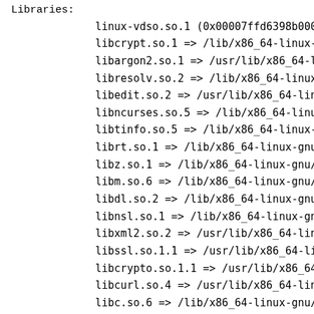Libraries:
linux-vdso.so.1 (0x00007ffd6398b000
libcrypt.so.1 => /lib/x86_64-linux-
libargon2.so.1 => /usr/lib/x86_64-l
libresolv.so.2 => /lib/x86_64-linux
libedit.so.2 => /usr/lib/x86_64-lin
libncurses.so.5 => /lib/x86_64-linu
libtinfo.so.5 => /lib/x86_64-linux-
librt.so.1 => /lib/x86_64-linux-gnu
libz.so.1 => /lib/x86_64-linux-gnu/
libm.so.6 => /lib/x86_64-linux-gnu/
libdl.so.2 => /lib/x86_64-linux-gnu
libnsl.so.1 => /lib/x86_64-linux-gn
libxml2.so.2 => /usr/lib/x86_64-lin
libssl.so.1.1 => /usr/lib/x86_64-li
libcrypto.so.1.1 => /usr/lib/x86_64
libcurl.so.4 => /usr/lib/x86_64-lin
libc.so.6 => /lib/x86_64-linux-gnu/
libpthread.so.0 => /lib/x86_64-linu